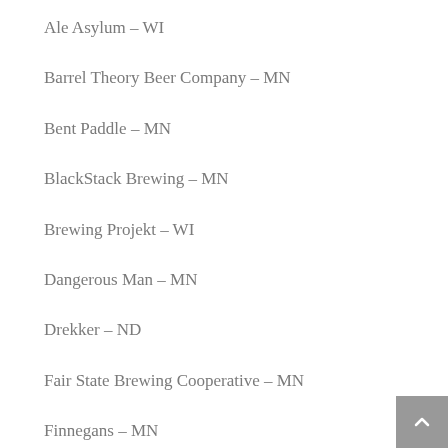Ale Asylum – WI
Barrel Theory Beer Company – MN
Bent Paddle – MN
BlackStack Brewing – MN
Brewing Projekt – WI
Dangerous Man – MN
Drekker – ND
Fair State Brewing Cooperative – MN
Finnegans – MN